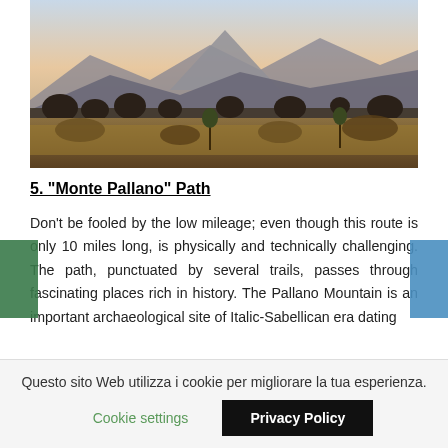[Figure (photo): Mountain landscape at dusk/dawn with golden grassy meadow in foreground, shrubs and scattered trees in middle ground, and a large mountain peak in background under a pastel sky.]
5. "Monte Pallano" Path
Don't be fooled by the low mileage; even though this route is only 10 miles long, is physically and technically challenging. The path, punctuated by several trails, passes through fascinating places rich in history. The Pallano Mountain is an important archaeological site of Italic-Sabellican era dating
Questo sito Web utilizza i cookie per migliorare la tua esperienza.
Cookie settings
Privacy Policy